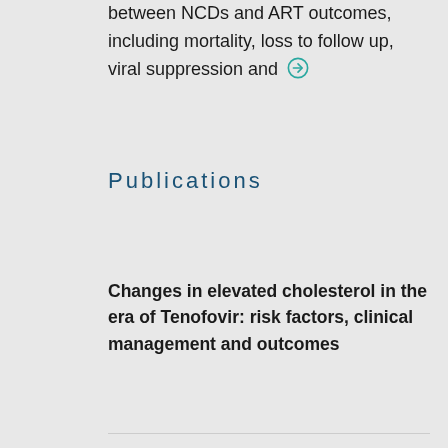between NCDs and ART outcomes, including mortality, loss to follow up, viral suppression and →
Publications
Changes in elevated cholesterol in the era of Tenofovir: risk factors, clinical management and outcomes